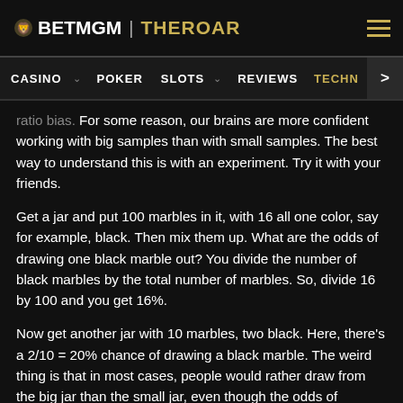BETMGM | THEROAR
CASINO  POKER  SLOTS  REVIEWS  TECHN
ratio bias. For some reason, our brains are more confident working with big samples than with small samples. The best way to understand this is with an experiment. Try it with your friends.
Get a jar and put 100 marbles in it, with 16 all one color, say for example, black. Then mix them up. What are the odds of drawing one black marble out? You divide the number of black marbles by the total number of marbles. So, divide 16 by 100 and you get 16%.
Now get another jar with 10 marbles, two black. Here, there's a 2/10 = 20% chance of drawing a black marble. The weird thing is that in most cases, people would rather draw from the big jar than the small jar, even though the odds of drawing a black marble from it are worse.